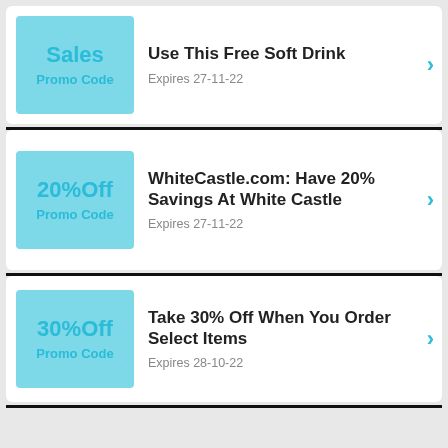[Figure (infographic): Coupon card 1: Sky blue badge with 'Sales' and 'Promo Code', title 'Use This Free Soft Drink', expires 27-11-22]
[Figure (infographic): Coupon card 2: Sky blue badge with '20%Off' and 'Promo Code', title 'WhiteCastle.com: Have 20% Savings At White Castle', expires 27-11-22]
[Figure (infographic): Coupon card 3: Sky blue badge with '30%Off' and 'Promo Code', title 'Take 30% Off When You Order Select Items', expires 28-10-22]